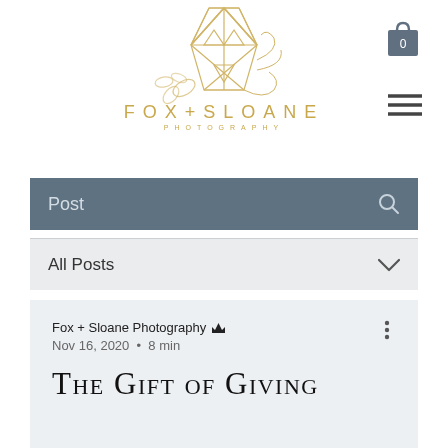[Figure (logo): Fox + Sloane Photography geometric fox logo in gold/tan lines with floral elements, text 'FOX+SLOANE PHOTOGRAPHY' below in gold]
[Figure (other): Shopping bag icon with number 0]
[Figure (other): Hamburger menu icon (three horizontal lines)]
Post
All Posts
Fox + Sloane Photography 👑
Nov 16, 2020  •  8 min
The Gift of Giving